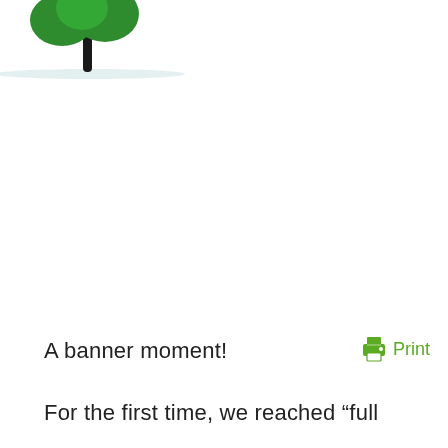[Figure (illustration): Cartoon illustration of a small green tree or plant with a round leafy top and thin dark trunk, standing on a light grey shadow/ground line. Only the top portion of the illustration is visible, cropped at the top of the page.]
A banner moment!
[Figure (illustration): Green printer icon next to the word Print in green text, serving as a print button.]
For the first time, we reached “full